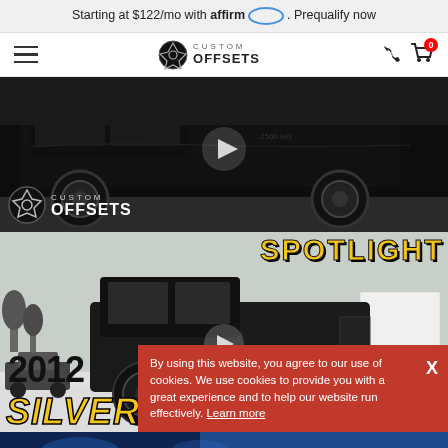Starting at $122/mo with affirm. Prequalify now
Custom Offsets navigation bar
[Figure (screenshot): Black truck Custom Offsets video thumbnail with logo overlay]
[Figure (screenshot): SPOTLIGHT section with black truck, 2012 SILVERADO text and 20X12 size label]
By using this website, you agree to our use of cookies. We use cookies to provide you with a great experience and to help our website run effectively. Learn more
[Figure (photo): Bottom partial image — blue/dark vehicle detail]